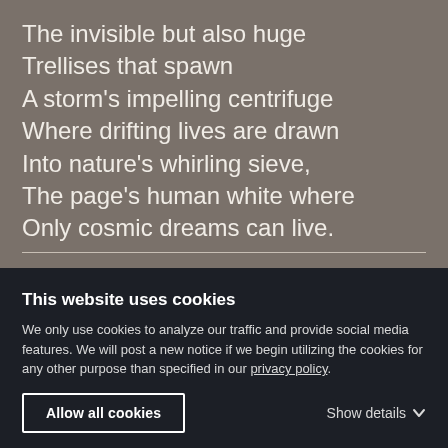The invisible but also huge
Trellises that spawn
A storm's impelling centrifuge
Where drifting lives are drawn
Into nature's whirling sieve,
The page's human white where
Only cosmic dreams can live.
This website uses cookies
We only use cookies to analyze our traffic and provide social media features. We will post a new notice if we begin utilizing the cookies for any other purpose than specified in our privacy policy.
Allow all cookies
Show details